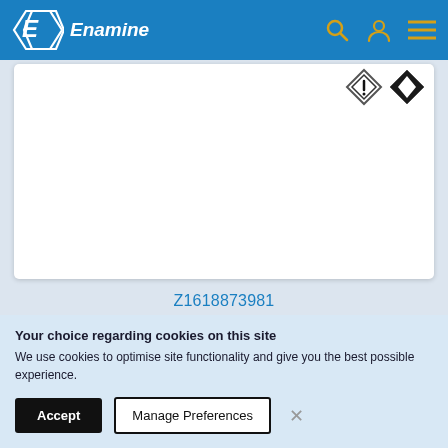[Figure (logo): Enamine company logo — white hexagonal shape with italic E letter and 'Enamine' text on blue header background]
[Figure (screenshot): Partial chemical structure diagram with two diamond-shaped hazard symbols (GHS) visible at top right of white card]
Z1618873981
[Figure (screenshot): White card/panel, partially visible]
Your choice regarding cookies on this site
We use cookies to optimise site functionality and give you the best possible experience.
Accept
Manage Preferences